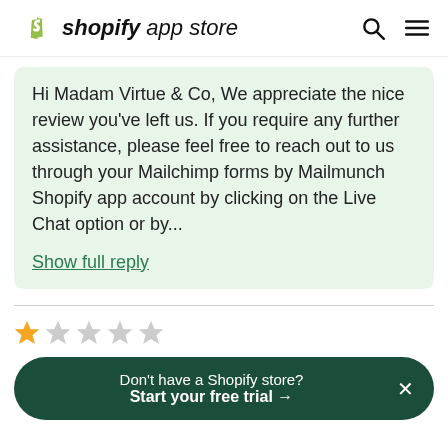shopify app store
Hi Madam Virtue & Co, We appreciate the nice review you've left us. If you require any further assistance, please feel free to reach out to us through your Mailchimp forms by Mailmunch Shopify app account by clicking on the Live Chat option or by...
Show full reply
[Figure (other): Star rating row showing 1 gold star and 4 gray stars]
Don't have a Shopify store? Start your free trial →